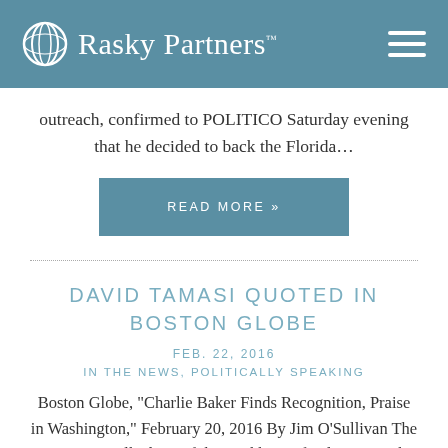Rasky Partners
outreach, confirmed to POLITICO Saturday evening that he decided to back the Florida…
READ MORE »
DAVID TAMASI QUOTED IN BOSTON GLOBE
FEB. 22, 2016
IN THE NEWS, POLITICALLY SPEAKING
Boston Globe, "Charlie Baker Finds Recognition, Praise in Washington," February 20, 2016 By Jim O'Sullivan The governor walked out of the steakhouse fund-raiser with his cellphone to his